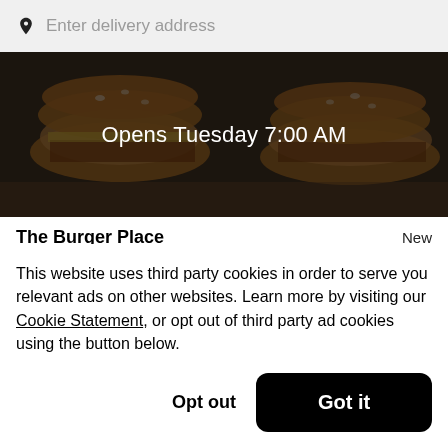Enter delivery address
[Figure (photo): Hero image of burgers with dark overlay, text: Opens Tuesday 7:00 AM]
The Burger Place
New
$
This website uses third party cookies in order to serve you relevant ads on other websites. Learn more by visiting our Cookie Statement, or opt out of third party ad cookies using the button below.
Opt out
Got it